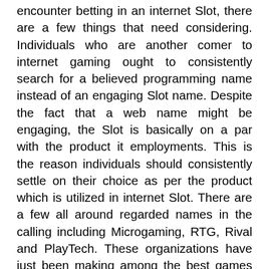encounter betting in an internet Slot, there are a few things that need considering. Individuals who are another comer to internet gaming ought to consistently search for a believed programming name instead of an engaging Slot name. Despite the fact that a web name might be engaging, the Slot is basically on a par with the product it employments. This is the reason individuals should consistently settle on their choice as per the product which is utilized in internet Slot. There are a few all around regarded names in the calling including Microgaming, RTG, Rival and PlayTech. These organizations have just been making among the best games reachable in this commercial center. When searching for incredible games to play, players should consistently go with a product name that is known. This will guarantee that players will have the absolute best experience conceivable while playing inside a web Slot. These organizations have substantiated themselves over